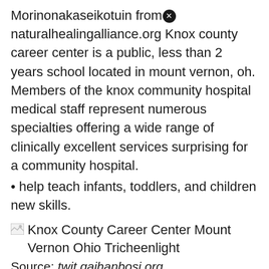Morinonakaseikotuin fromⓙnaturalhealingalliance.org Knox county career center is a public, less than 2 years school located in mount vernon, oh. Members of the knox community hospital medical staff represent numerous specialties offering a wide range of clinically excellent services surprising for a community hospital.
• help teach infants, toddlers, and children new skills.
[Figure (photo): Broken image placeholder for Knox County Career Center Mount Vernon Ohio Tricheenlight]
Knox County Career Center Mount Vernon Ohio Tricheenlight
Source: twit.gaihanbosi.org
Members of the knox community hospital medical staff represent numerous specialties offering a wide range of clinically excellent services surprising for a community hospital. 33.2%ⓙe women, and 66.8% are